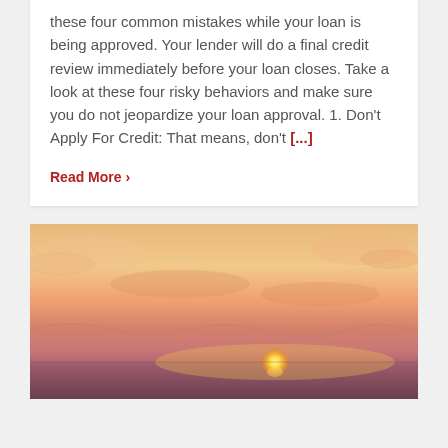these four common mistakes while your loan is being approved. Your lender will do a final credit review immediately before your loan closes. Take a look at these four risky behaviors and make sure you do not jeopardize your loan approval. 1. Don't Apply For Credit: That means, don't [...]
Read More ›
[Figure (photo): A sunset over the ocean with warm orange, yellow, and pink hues in the sky and the sun setting on the horizon over calm water.]